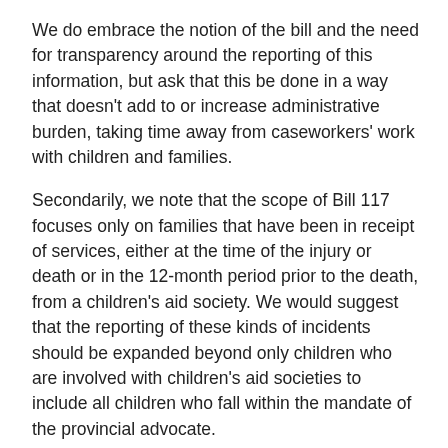We do embrace the notion of the bill and the need for transparency around the reporting of this information, but ask that this be done in a way that doesn't add to or increase administrative burden, taking time away from caseworkers' work with children and families.
Secondarily, we note that the scope of Bill 117 focuses only on families that have been in receipt of services, either at the time of the injury or death or in the 12-month period prior to the death, from a children's aid society. We would suggest that the reporting of these kinds of incidents should be expanded beyond only children who are involved with children's aid societies to include all children who fall within the mandate of the provincial advocate.
There are a number of vulnerable children across the province who do receive services from child and youth serving agencies who may or may not have had involvement with children's aid societies in the past, but